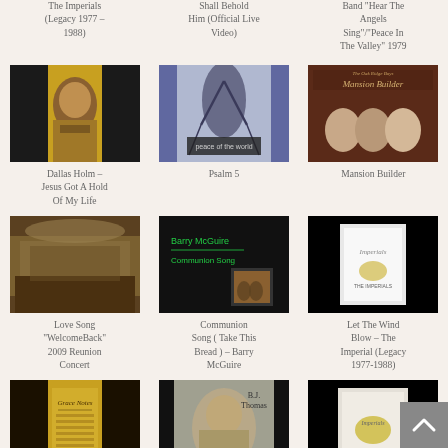[Figure (screenshot): Grid of music video/album thumbnails with titles - partial top row showing three titles without images]
The Imperials (Legacy 1977 – 1988)
Shall Behold Him (Official Live Video)
Band "Hear The Angels Sing"/"Peace In The Valley" 1979
[Figure (photo): Dallas Holm album/video thumbnail - person with yellow/gold background]
Dallas Holm – Jesus Got A Hold Of My Life
[Figure (photo): Psalm 5 - bare tree in purple/blue tones with text overlay]
Psalm 5
[Figure (photo): Mansion Builder - three people on dark red album cover]
Mansion Builder
[Figure (photo): Love Song WelcomeBack - choir/concert scene in brown tones]
Love Song "WelcomeBack" 2009 Reunion Concert
[Figure (screenshot): Barry McGuire Communion Song - black background with text and small image]
Communion Song ( Take This Bread ) – Barry McGuire
[Figure (photo): Imperials album cover - white booklet on black background]
Let The Wind Blow – The Imperial (Legacy 1977-1988)
[Figure (photo): Sheet music / hymnal style cover - yellow/gold with text]
[Figure (photo): BJ Thomas - man's face with BJ Thomas logo]
[Figure (photo): Imperials album on black background]